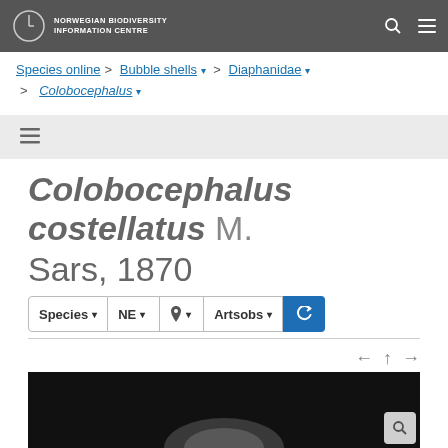NORWEGIAN BIODIVERSITY INFORMATION CENTRE
Species online > Bubble shells > Diaphanidae > Colobocephalus
Colobocephalus costellatus M. Sars, 1870
Species | NE | (location) | Artsobs | (refresh)
[Figure (photo): Partial photo of Colobocephalus costellatus specimen on black background]